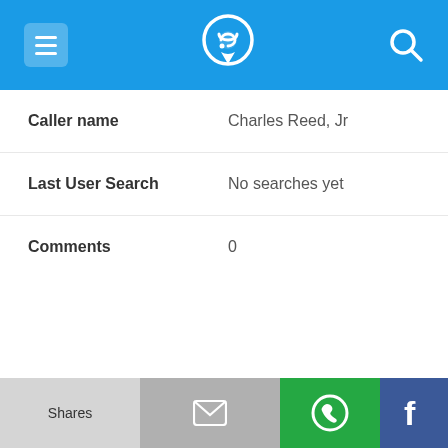App header with menu, phone/location logo, and search icon
| Field | Value |
| --- | --- |
| Caller name | Charles Reed, Jr |
| Last User Search | No searches yet |
| Comments | 0 |
302-678-9067
| Field | Value |
| --- | --- |
| Alternate Form | 3026789067 |
| Caller name | Thomas Barlow |
Shares | Email | WhatsApp | Facebook